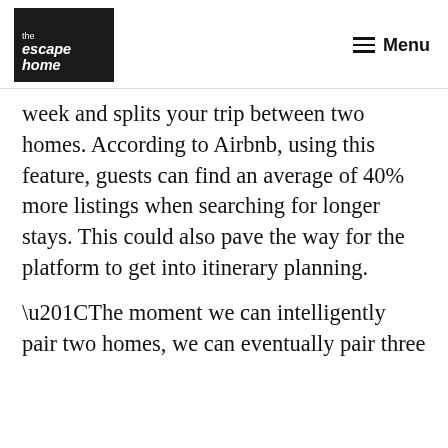the escape home | Menu
week and splits your trip between two homes. According to Airbnb, using this feature, guests can find an average of 40% more listings when searching for longer stays. This could also pave the way for the platform to get into itinerary planning.
“The moment we can intelligently pair two homes, we can eventually pair three homes or two homes and an experience or a home and an experience plus something else,” Airbnb CEO Brian Chesky told TechCrunch. “Then, we can give a user control. You can